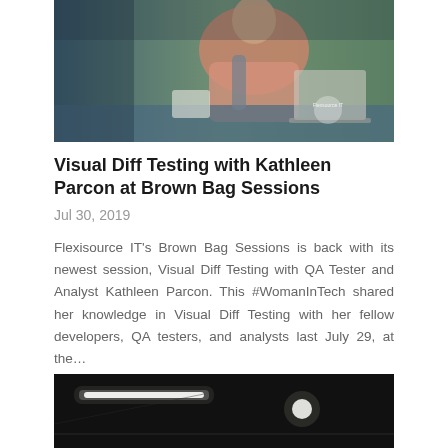[Figure (photo): A person (woman in pink top) sitting at a desk with a laptop and water bottle; a watermark/logo for Flexisource IT is visible in the lower right of the photo.]
Visual Diff Testing with Kathleen Parcon at Brown Bag Sessions
Jul 30, 2019
Flexisource IT's Brown Bag Sessions is back with its newest session, Visual Diff Testing with QA Tester and Analyst Kathleen Parcon. This #WomanInTech shared her knowledge in Visual Diff Testing with her fellow developers, QA testers, and analysts last July 29, at the…
[Figure (photo): A dark room with ceiling lights visible — appears to be an event or conference room interior.]